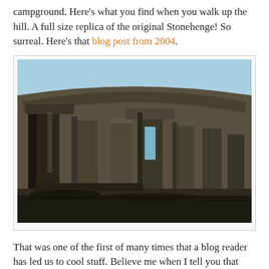campground.  Here's what you find when you walk up the hill.  A full size replica of the original Stonehenge!  So surreal.  Here's that blog post from 2004.
[Figure (photo): Photograph of a full-size Stonehenge replica made of concrete/stone blocks, taken from inside the monument looking up at the standing stones and lintels against a blue sky.]
That was one of the first of many times that a blog reader has led us to cool stuff.  Believe me when I tell you that Every Traveler Needs a Blog!  Not only to record and share your experiences but to connect with others and learn from them as well.  So, when we knew we were going to be in Oregon again, we found a way to stop for a night at the same campground.  It was HOT, but just as beautiful as we